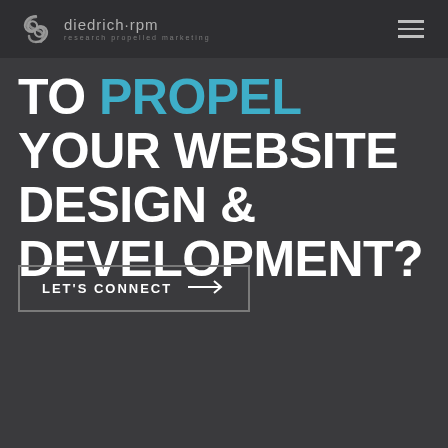diedrich·rpm — research propelled marketing
TO PROPEL YOUR WEBSITE DESIGN & DEVELOPMENT?
LET'S CONNECT →